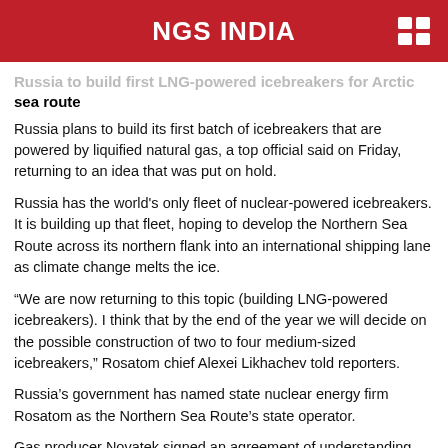NGS INDIA
Russia to build first LNG-powered icebreakers for Arctic sea route
Russia plans to build its first batch of icebreakers that are powered by liquified natural gas, a top official said on Friday, returning to an idea that was put on hold.
Russia has the world's only fleet of nuclear-powered icebreakers. It is building up that fleet, hoping to develop the Northern Sea Route across its northern flank into an international shipping lane as climate change melts the ice.
“We are now returning to this topic (building LNG-powered icebreakers). I think that by the end of the year we will decide on the possible construction of two to four medium-sized icebreakers,” Rosatom chief Alexei Likhachev told reporters.
Russia’s government has named state nuclear energy firm Rosatom as the Northern Sea Route’s state operator.
Gas producer Novatek signed an agreement of understanding with Rosatom to develop LNG-powered icebreakers in 2018. But those plans went quiet. Novatek has several LNG projects in the Arctic.